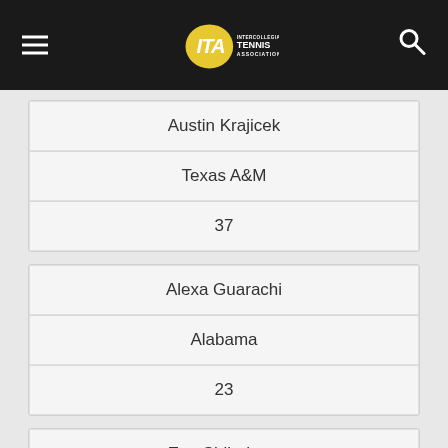ITA - Intercollegiate Tennis Association
| Name | School | Rank |
| --- | --- | --- |
| Austin Krajicek | Texas A&M | 37 |
| Name | School | Rank |
| --- | --- | --- |
| Alexa Guarachi | Alabama | 23 |
| Name | School | Rank |
| --- | --- | --- |
| Ena Shibahara | UCLA | 8 |